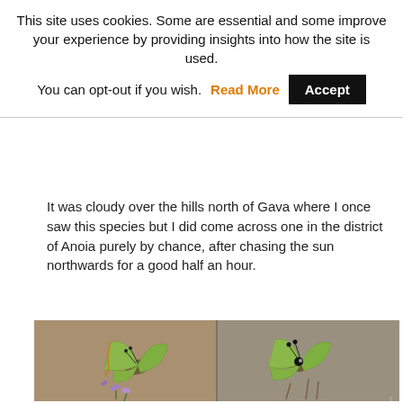This site uses cookies. Some are essential and some improve your experience by providing insights into how the site is used.
You can opt-out if you wish. Read More  Accept
[orange partial title text — truncated]
It was cloudy over the hills north of Gava where I once saw this species but I did come across one in the district of Anoia purely by chance, after chasing the sun northwards for a good half an hour.
[Figure (photo): Two photographs side by side of green butterflies (Callophrys or similar green hairstreak species) resting on flowering plants. Left photo shows butterfly from above on purple flowers. Right photo shows butterfly from slightly different angle on dry ground vegetation with antennae visible.]